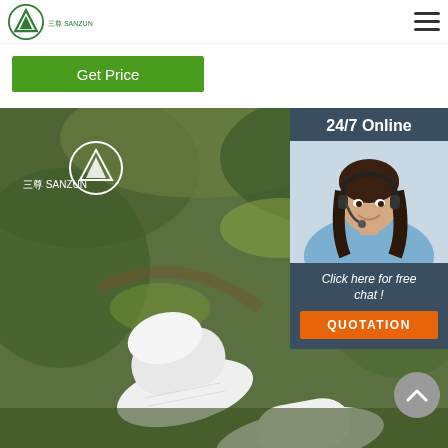[Figure (logo): Sanzun brand logo with green triangle/mountain icon and Chinese/English text]
Get Price
[Figure (photo): White hotel slippers on a natural green garden background with Sanzun logo overlay]
[Figure (infographic): 24/7 Online customer service widget with photo of smiling woman with headset, 'Click here for free chat!' text, and orange QUOTATION button]